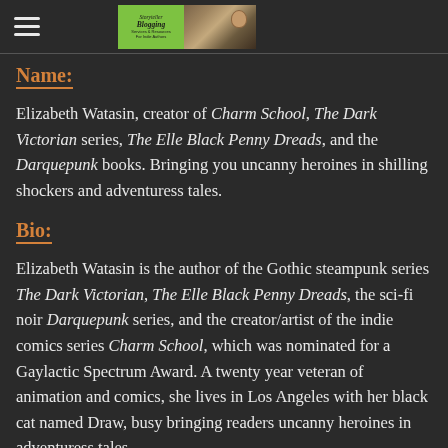[Storyteller Blogging logo with hamburger menu]
Name:
Elizabeth Watasin, creator of Charm School, The Dark Victorian series, The Elle Black Penny Dreads, and the Darquepunk books. Bringing you uncanny heroines in shilling shockers and adventuress tales.
Bio:
Elizabeth Watasin is the author of the Gothic steampunk series The Dark Victorian, The Elle Black Penny Dreads, the sci-fi noir Darquepunk series, and the creator/artist of the indie comics series Charm School, which was nominated for a Gaylactic Spectrum Award. A twenty year veteran of animation and comics, she lives in Los Angeles with her black cat named Draw, busy bringing readers uncanny heroines in adventuress tales.